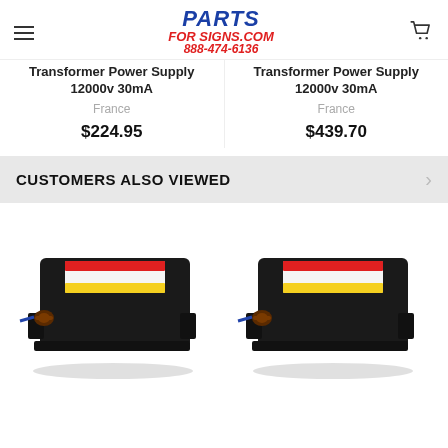PARTS FOR SIGNS.COM 888-474-6136
Transformer Power Supply 12000v 30mA
France
$224.95
Transformer Power Supply 12000v 30mA
France
$439.70
CUSTOMERS ALSO VIEWED
[Figure (photo): Black neon sign transformer power supply unit with warning label sticker on top, front-left view]
[Figure (photo): Black neon sign transformer power supply unit with warning label sticker on top, front-left view (second unit)]